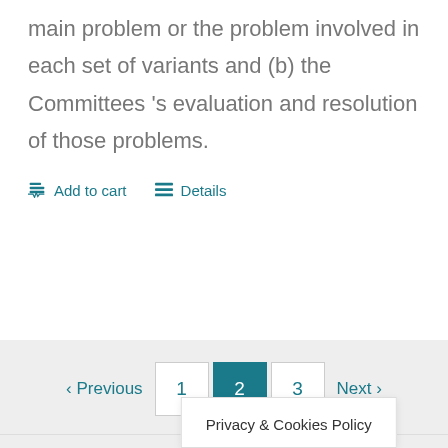main problem or the problem involved in each set of variants and (b) the Committees 's evaluation and resolution of those problems.
Add to cart   Details
« Previous  1  2  3  Next »
Terms  |  Privacy Policy
© Copyright 2018 – 202… all rights reserved  |  Deve…ons
Privacy & Cookies Policy